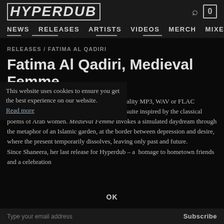Hyperdub — NEWS RELEASES ARTISTS VIDEOS MERCH MIXES
RELEASES / FATIMA AL QADIRI
Fatima Al Qadiri, Medieval Femme
All digital downloads are available in high-quality MP3, WAV or FLAC
Fatima Al Qadiri returns to Hyperdub, with a suite inspired by the classical poems of Arab women. Medieval Femme invokes a simulated daydream through the metaphor of an Islamic garden, at the border between depression and desire, where the present temporarily dissolves, leaving only past and future.
Since Shaneera, her last release for Hyperdub – a homage to hometown friends and a celebration
This website uses cookies to ensure you get the best experience on our website. Read more
Type your email address   Subscribe